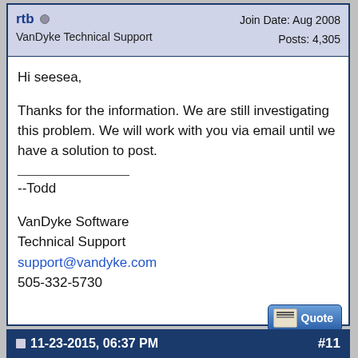rtb | VanDyke Technical Support | Join Date: Aug 2008 | Posts: 4,305
Hi seesea,

Thanks for the information. We are still investigating this problem. We will work with you via email until we have a solution to post.

--Todd

VanDyke Software
Technical Support
support@vandyke.com
505-332-5730
11-23-2015, 06:37 PM   #11